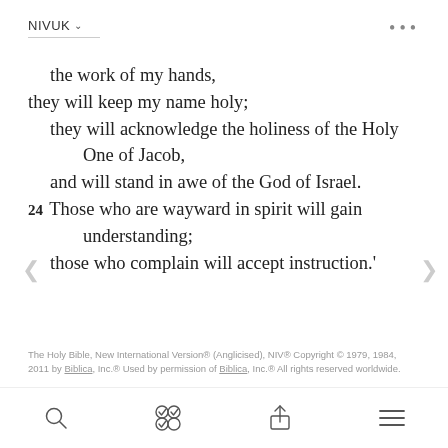NIVUK
the work of my hands,
they will keep my name holy;
    they will acknowledge the holiness of the Holy
        One of Jacob,
    and will stand in awe of the God of Israel.
24 Those who are wayward in spirit will gain
        understanding;
    those who complain will accept instruction.'
The Holy Bible, New International Version® (Anglicised), NIV® Copyright © 1979, 1984, 2011 by Biblica, Inc.® Used by permission of Biblica, Inc.® All rights reserved worldwide.